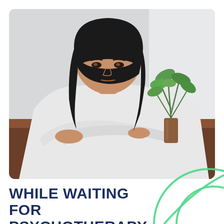[Figure (photo): A young Asian woman with black hair and bangs resting her head on her crossed arms on a wooden table, looking melancholy. A small green plant in an amber glass jar is visible to her right. Background is light grey.]
WHILE WAITING FOR PSYCHOTHERAPY TO BEGIN